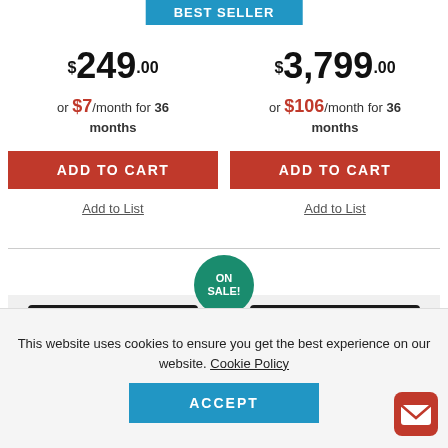BEST SELLER
$249.00
or $7/month for 36 months
ADD TO CART
Add to List
$3,799.00
or $106/month for 36 months
ADD TO CART
Add to List
ON SALE!
[Figure (photo): Laptop with audio software and rack unit hardware below - left product]
[Figure (photo): Laptop with audio software and rack unit hardware below - right product]
This website uses cookies to ensure you get the best experience on our website. Cookie Policy
ACCEPT